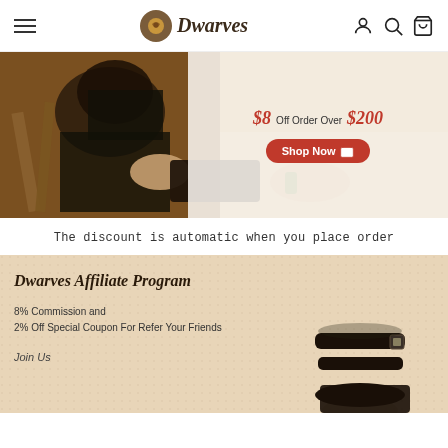Dwarves (navigation bar with hamburger menu, logo, user/search/cart icons)
[Figure (photo): Hero banner showing a craftsperson working with leather tools. Overlay panel on right reads '$8 Off Order Over $200' with a red 'Shop Now' button.]
The discount is automatic when you place order
[Figure (photo): Affiliate program banner with beige/tan background. Text: 'Dwarves Affiliate Program', '8% Commission and', '2% Off Special Coupon For Refer Your Friends', 'Join Us'. Black sandal image on right side.]